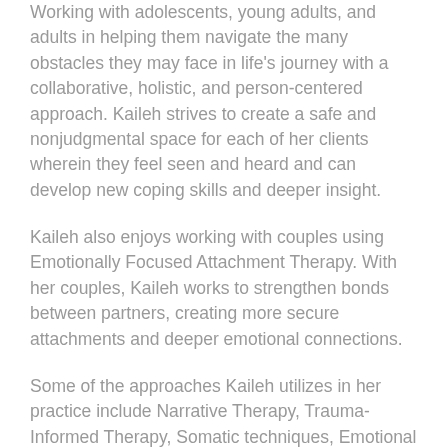Working with adolescents, young adults, and adults in helping them navigate the many obstacles they may face in life's journey with a collaborative, holistic, and person-centered approach. Kaileh strives to create a safe and nonjudgmental space for each of her clients wherein they feel seen and heard and can develop new coping skills and deeper insight.
Kaileh also enjoys working with couples using Emotionally Focused Attachment Therapy. With her couples, Kaileh works to strengthen bonds between partners, creating more secure attachments and deeper emotional connections.
Some of the approaches Kaileh utilizes in her practice include Narrative Therapy, Trauma-Informed Therapy, Somatic techniques, Emotional Freedom Technique (EFT), Mindfulness, Self-Compassion, Attachment Therapy, Integral Family…